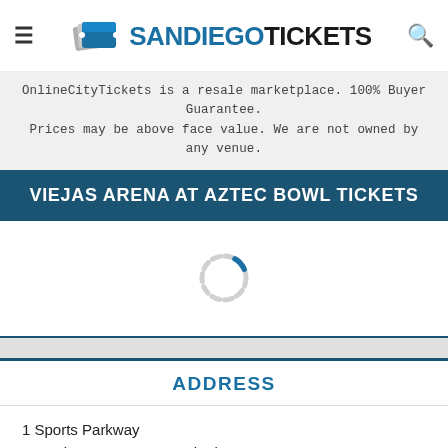SAN DIEGO TICKETS
OnlineCityTickets is a resale marketplace. 100% Buyer Guarantee. Prices may be above face value. We are not owned by any venue.
VIEJAS ARENA AT AZTEC BOWL TICKETS
[Figure (other): Loading spinner icon — circular dashed ring with a small blue segment at the top, indicating content is loading]
ADDRESS
1 Sports Parkway
San Diego, CA 92182, United States